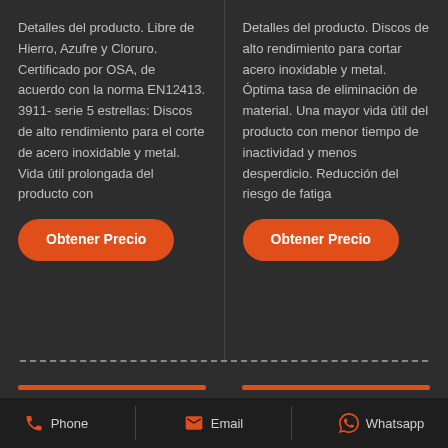Detalles del producto. Libre de Hierro, Azufre y Cloruro. Certificado por OSA, de acuerdo con la norma EN12413. 3911- serie 5 estrellas: Discos de alto rendimiento para el corte de acero inoxidable y metal. Vida útil prolongada del producto con
Detalles del producto. Discos de alto rendimiento para cortar acero inoxidable y metal. Óptima tasa de eliminación de material. Una mayor vida útil del producto con menor tiempo de inactividad y menos desperdicio. Reducción del riesgo de fatiga
Obtener Precio
Obtener Precio
Phone  Email  Whatsapp